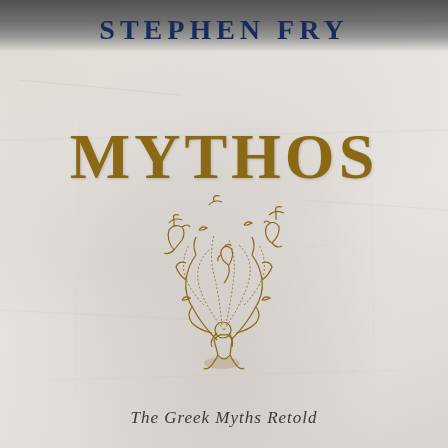STEPHEN FRY
[Figure (illustration): Gold line art illustration of a figure kneeling with arms raised, surrounded by mythological creatures, birds, sea horses, and fantastical beings swirling upward, rendered in golden-brown ink on a pale stone-textured background]
MYTHOS
The Greek Myths Retold